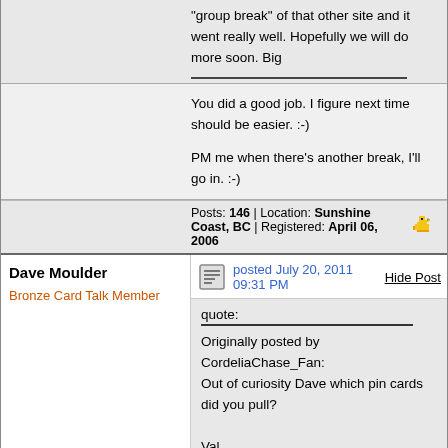"group break" of that other site and it went really well. Hopefully we will do more soon. Big
You did a good job. I figure next time should be easier. :-)
PM me when there's another break, I'll go in. :-)
Posts: 146 | Location: Sunshine Coast, BC | Registered: April 06, 2006
Dave Moulder
Bronze Card Talk Member
posted July 20, 2011 09:31 PM
Hide Post
quote:
Originally posted by CordeliaChase_Fan: Out of curiosity Dave which pin cards did you pull?

Val
CP3 and CP7
Posts: 506 | Location: MA | Registered: December